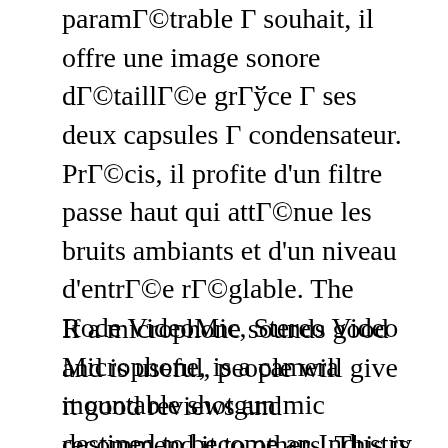paramétrable à souhait, il offre une image sonore détaillée grâce à ses deux capsules à condensateur. Précis, il profite d'un filtre passe haut qui atténue les bruits ambiants et d'un niveau d'entrée réglable. The Rode VideoMic, Stereo Video Microphone, is a camera mountable shotgun mic destined to become an Industry standard. Videographers choose it for true studio stereo recording techniques in the field. In additon, it meets the music industry demand for stereo recording applications.
If a microphone sounds good and is useful, people will give it good reviews and recommend it to others. This is the story of the Rode Stereo VideoMic Pro. If it was a piece of junk and sounded lousy, no one would buy it, and I likely